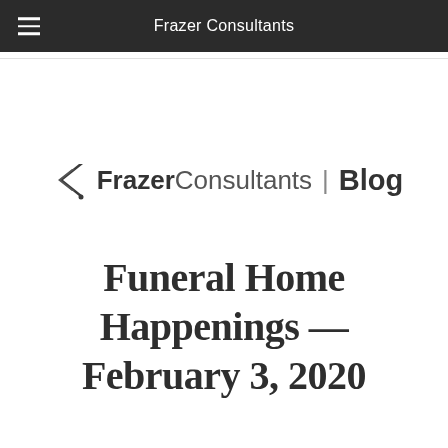Frazer Consultants
[Figure (logo): Frazer Consultants Blog logo with arrow/chevron icon on the left, bold 'Frazer' text, light 'Consultants' text, vertical pipe separator, and bold 'Blog' text]
Funeral Home Happenings — February 3, 2020